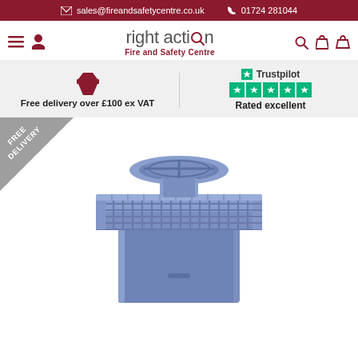sales@fireandsafetycentre.co.uk  01724 281044
[Figure (logo): Right Action Fire and Safety Centre logo with navigation icons]
Free delivery over £100 ex VAT
Trustpilot Rated excellent
[Figure (photo): Blue fire/safety cage guard product with wire mesh cage on top of a blue cabinet, with a round blue lid/funnel. A FREE DELIVERY corner badge is overlaid.]